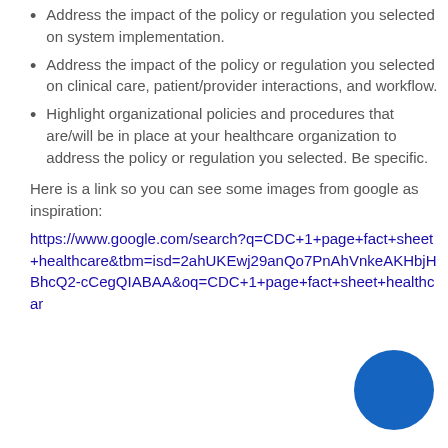Address the impact of the policy or regulation you selected on system implementation.
Address the impact of the policy or regulation you selected on clinical care, patient/provider interactions, and workflow.
Highlight organizational policies and procedures that are/will be in place at your healthcare organization to address the policy or regulation you selected. Be specific.
Here is a link so you can see some images from google as inspiration:
https://www.google.com/search?q=CDC+1+page+fact+sheet+healthcare&tbm=isd=2ahUKEwj29anQo7PnAhVnkeAKHbjHBhcQ2-cCegQIABAA&oq=CDC+1+page+fact+sheet+healthcar